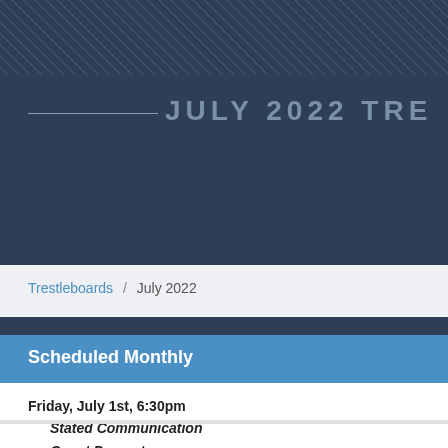JULY 2022 TRE
Trestleboards / July 2022
Scheduled Monthly
Friday, July 1st,  6:30pm
Stated Communication
Guest Presenter
by Bro. Matthew Parker, Subduing Our Passions, Ego
Dinner 6:30pm
Smoked Tenderloin, Asparagus with Butter and Garli
Class Nights